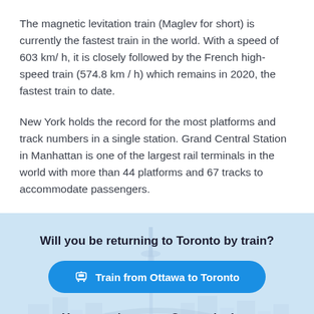The magnetic levitation train (Maglev for short) is currently the fastest train in the world. With a speed of 603 km/ h, it is closely followed by the French high-speed train (574.8 km / h) which remains in 2020, the fastest train to date.
New York holds the record for the most platforms and track numbers in a single station. Grand Central Station in Manhattan is one of the largest rail terminals in the world with more than 44 platforms and 67 tracks to accommodate passengers.
[Figure (infographic): Light blue banner with Toronto skyline silhouette in the background, containing a question, a blue call-to-action button for train travel, and a second heading about bus travel.]
Will you be returning to Toronto by train?
Train from Ottawa to Toronto
You can also go to Ottawa by bus